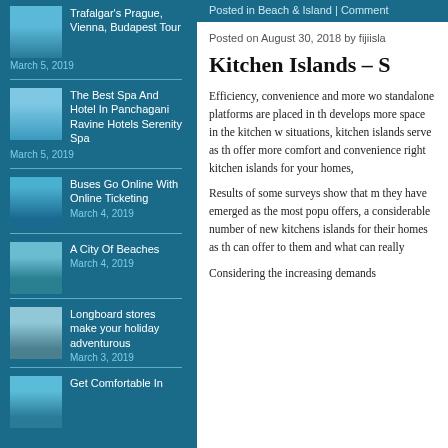Trafalgar's Prague, Vienna, Budapest Tour — March 5, 2019
The Best Spa And Hotel In Panchagani Ravine Hotels Serenity Spa — March 5, 2019
Buses Go Online With Online Ticketing — March 4, 2019
A City Of Beaches — March 4, 2019
Longboard stores make your holiday adventurous — March 3, 2019
Get Comfortable In
Posted in Beach & Island | Comment
Posted on August 30, 2018 by fijiisla
Kitchen Islands – S
Efficiency, convenience and more wo standalone platforms are placed in th develops more space in the kitchen w situations, kitchen islands serve as th offer more comfort and convenience right kitchen islands for your homes,
Results of some surveys show that m they have emerged as the most popu offers, a considerable number of new kitchens islands for their homes as th can offer to them and what can really
Considering the increasing demands